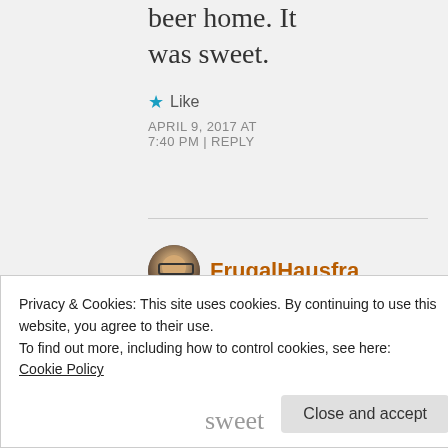beer home. It was sweet.
★ Like
APRIL 9, 2017 AT 7:40 PM | REPLY
FrugalHausfra…
The N…
Privacy & Cookies: This site uses cookies. By continuing to use this website, you agree to their use.
To find out more, including how to control cookies, see here:
Cookie Policy
Close and accept
sweet